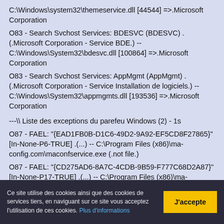C:\Windows\system32\themeservice.dll [44544] =>.Microsoft Corporation
O83 - Search Svchost Services: BDESVC (BDESVC) . (.Microsoft Corporation - Service BDE.) -- C:\Windows\System32\bdesvc.dll [100864] =>.Microsoft Corporation
O83 - Search Svchost Services: AppMgmt (AppMgmt) . (.Microsoft Corporation - Service Installation de logiciels.) -- C:\Windows\System32\appmgmts.dll [193536] =>.Microsoft Corporation

---\\ Liste des exceptions du parefeu Windows (2) - 1s
O87 - FAEL: "{EAD1FB0B-D1C6-49D2-9A92-EF5CD8F27865}" [In-None-P6-TRUE] .(...) -- C:\Program Files (x86)\ma-config.com\maconfservice.exe (.not file.)
O87 - FAEL: "{CD275AD6-8A7C-4CDB-9B59-F777C68D2A87}" [In-None-P17-TRUE] .(...) -- C:\Program Files (x86)\ma-config.com\maconfservice.exe (.not file.)
Ce site utilise des cookies ainsi que des cookies de services tiers, en naviguant sur ce site vous acceptez l'utilisation de ces cookies. Plus d'informations